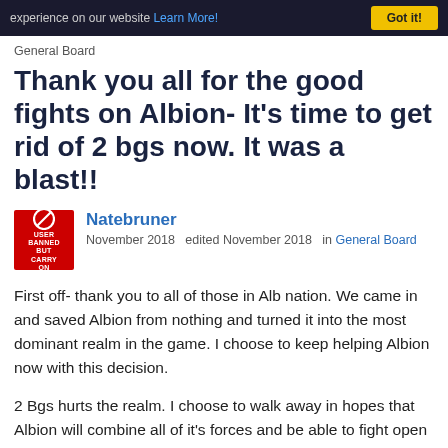experience on our website Learn More! Got it!
General Board
Thank you all for the good fights on Albion- It's time to get rid of 2 bgs now. It was a blast!!
Natebruner
November 2018  edited November 2018  in General Board
First off- thank you to all of those in Alb nation. We came in and saved Albion from nothing and turned it into the most dominant realm in the game. I choose to keep helping Albion now with this decision.
2 Bgs hurts the realm. I choose to walk away in hopes that Albion will combine all of it's forces and be able to fight open field nonstop.
With split bg's it can be difficult to come to decisions on a